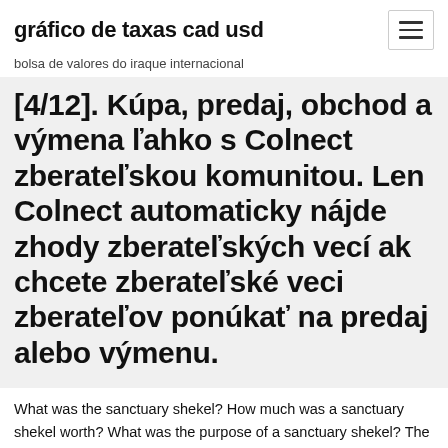gráfico de taxas cad usd
bolsa de valores do iraque internacional
[4/12]. Kúpa, predaj, obchod a výmena ľahko s Colnect zberateľskou komunitou. Len Colnect automaticky nájde zhody zberateľských vecí ak chcete zberateľské veci zberateľov ponúkať na predaj alebo výmenu.
What was the sanctuary shekel? How much was a sanctuary shekel worth? What was the purpose of a sanctuary shekel? The shekel, now known as the old shekel, was the currency of the State of Israel between 24 February 1980 and 31 December 1985. Half-Shekel - Copper-Nickel, 30mm, 12g, 1/2 Israeli Pound, B.U. Coin 1961